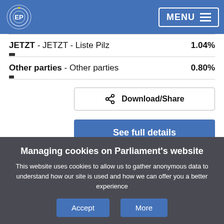European Parliament - MENU
JETZT - JETZT - Liste Pilz   1.04%
Other parties - Other parties   0.80%
Download/Share
See full details
Managing cookies on Parliament's website
This website uses cookies to allow us to gather anonymous data to understand how our site is used and how we can offer you a better experience
Accept
More